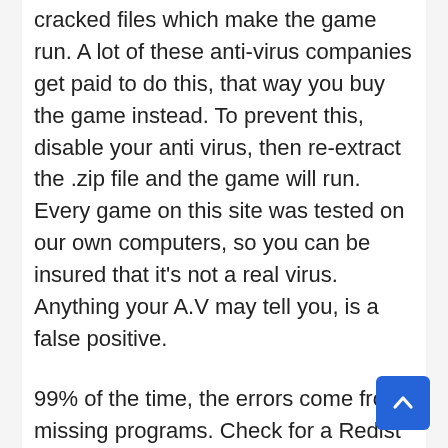cracked files which make the game run. A lot of these anti-virus companies get paid to do this, that way you buy the game instead. To prevent this, disable your anti virus, then re-extract the .zip file and the game will run. Every game on this site was tested on our own computers, so you can be insured that it's not a real virus. Anything your A.V may tell you, is a false positive.
99% of the time, the errors come from missing programs. Check for a Redist or _CommonRedist folder, and be sure to install all the required software in those folders: DirectX, vcredist, DotNet, etc.
Another useful tip is to disable any form of anti virus programs AND windows defender if the